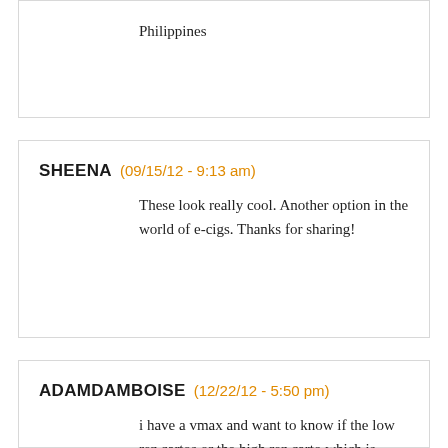Philippines
SHEENA  (09/15/12 - 9:13 am)
These look really cool. Another option in the world of e-cigs. Thanks for sharing!
ADAMDAMBOISE  (12/22/12 - 5:50 pm)
i have a vmax and want to know if the low rez cartos or the high rez carto which is better to use i like a big hit